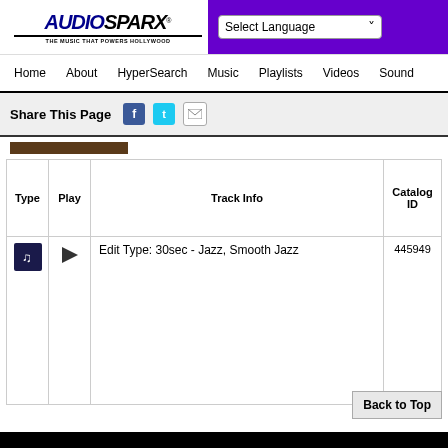[Figure (screenshot): AudioSparx logo with text AUDIO in blue italic bold, SPARX in black italic bold, tagline THE MUSIC THAT POWERS HOLLYWOOD, with purple language selector bar on right]
Home   About   HyperSearch   Music   Playlists   Videos   Sound
Share This Page
| Type | Play | Track Info | Catalog ID |
| --- | --- | --- | --- |
| [music icon] | [speaker icon] | Edit Type: 30sec - Jazz, Smooth Jazz | 445949 |